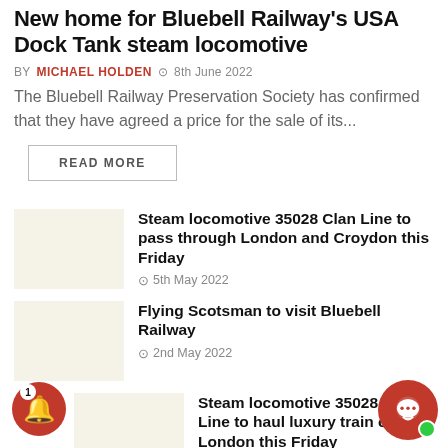New home for Bluebell Railway's USA Dock Tank steam locomotive
BY MICHAEL HOLDEN  © 8th June 2022
The Bluebell Railway Preservation Society has confirmed that they have agreed a price for the sale of its...
READ MORE
Steam locomotive 35028 Clan Line to pass through London and Croydon this Friday
© 5th May 2022
Flying Scotsman to visit Bluebell Railway
© 2nd May 2022
Steam locomotive 35028 Clan Line to haul luxury train out of London this Friday